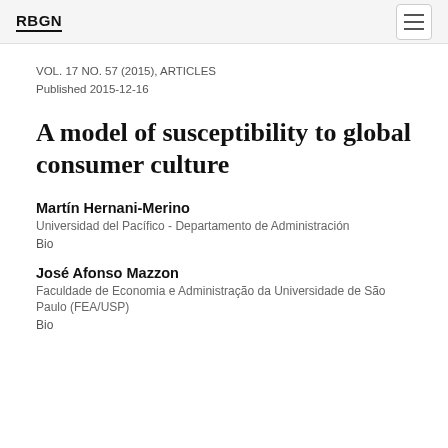RBGN
VOL. 17 NO. 57 (2015), ARTICLES
Published 2015-12-16
A model of susceptibility to global consumer culture
Martín Hernani-Merino
Universidad del Pacífico - Departamento de Administración
Bio
José Afonso Mazzon
Faculdade de Economia e Administração da Universidade de São Paulo (FEA/USP)
Bio